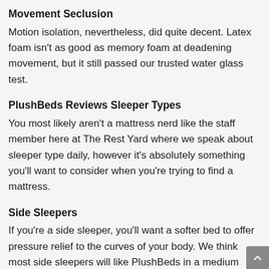Movement Seclusion
Motion isolation, nevertheless, did quite decent. Latex foam isn't as good as memory foam at deadening movement, but it still passed our trusted water glass test.
PlushBeds Reviews Sleeper Types
You most likely aren't a mattress nerd like the staff member here at The Rest Yard where we speak about sleeper type daily, however it's absolutely something you'll want to consider when you're trying to find a mattress.
Side Sleepers
If you're a side sleeper, you'll want a softer bed to offer pressure relief to the curves of your body. We think most side sleepers will like PlushBeds in a medium firmness. Our only caution, however, may be for petite side sleepers. A medium…